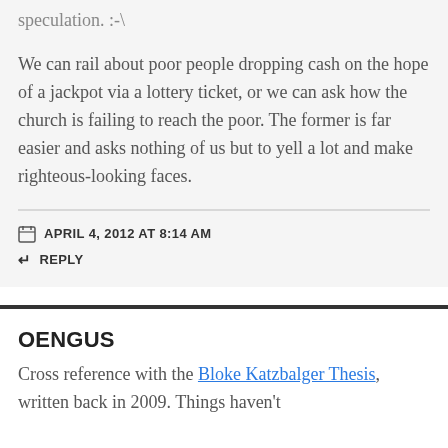speculation. :-\
We can rail about poor people dropping cash on the hope of a jackpot via a lottery ticket, or we can ask how the church is failing to reach the poor. The former is far easier and asks nothing of us but to yell a lot and make righteous-looking faces.
APRIL 4, 2012 AT 8:14 AM
REPLY
OENGUS
Cross reference with the Bloke Katzbalger Thesis, written back in 2009. Things haven't